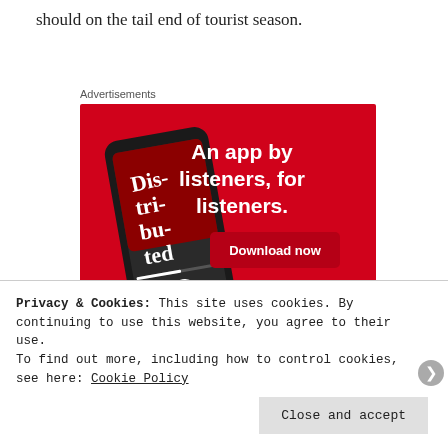should on the tail end of tourist season.
Advertisements
[Figure (illustration): Red advertisement banner for a podcast app showing a smartphone with 'Dis-tri-bu-ted' podcast artwork and the text 'An app by listeners, for listeners.' with a 'Download now' button.]
Privacy & Cookies: This site uses cookies. By continuing to use this website, you agree to their use.
To find out more, including how to control cookies, see here: Cookie Policy
Close and accept